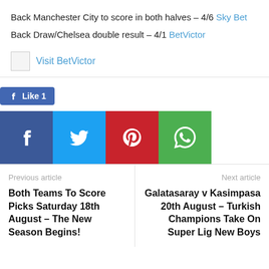Back Manchester City to score in both halves – 4/6 Sky Bet
Back Draw/Chelsea double result – 4/1 BetVictor
[Figure (other): BetVictor banner/advertisement with Visit BetVictor link]
[Figure (other): Facebook Like button showing count of 1, and social share buttons for Facebook, Twitter, Pinterest, WhatsApp]
Previous article
Both Teams To Score Picks Saturday 18th August – The New Season Begins!
Next article
Galatasaray v Kasimpasa 20th August – Turkish Champions Take On Super Lig New Boys